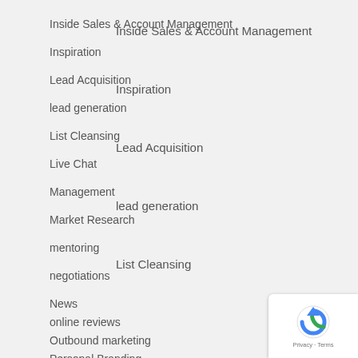Inside Sales & Account Management
Inspiration
Lead Acquisition
lead generation
List Cleansing
Live Chat
Management
Market Research
mentoring
negotiations
News
online reviews
Outbound marketing
Personal Branding